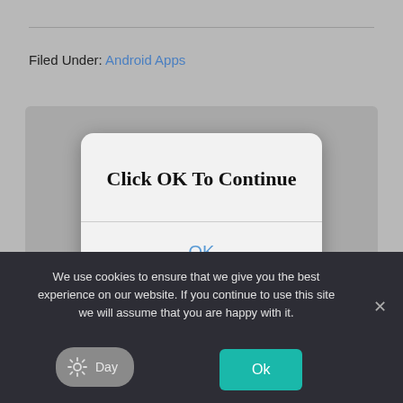Filed Under: Android Apps
[Figure (screenshot): Mobile dialog box with white rounded rectangle showing 'Click OK To Continue' title text and an OK button below a divider line]
We use cookies to ensure that we give you the best experience on our website. If you continue to use this site we will assume that you are happy with it.
Day
Ok